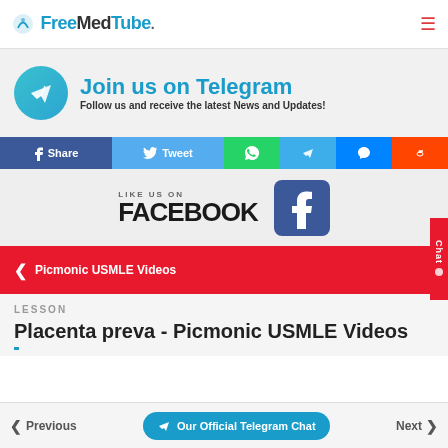FreeMedTube.
[Figure (infographic): Join us on Telegram banner with Telegram logo circle and text: Join us on Telegram - Follow us and receive the latest News and Updates!]
[Figure (infographic): Social share bar with Facebook Share, Twitter Tweet, WhatsApp, Telegram, Messenger, and Reddit buttons]
[Figure (infographic): Like us on Facebook banner with large Facebook F icon]
Picmonic USMLE Videos
LESSON
Placenta preva - Picmonic USMLE Videos
Previous | Our Official Telegram Chat | Next